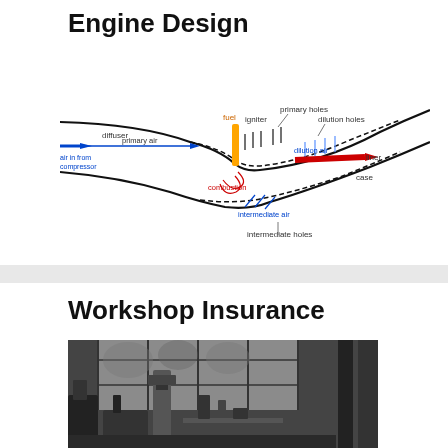Engine Design
[Figure (schematic): Combustion chamber cross-section diagram showing diffuser, fuel injector, igniter, primary holes, dilution holes, liner, case, primary air, combustion zone, dilution air, intermediate air, and intermediate holes with flow arrows.]
Workshop Insurance
[Figure (photo): Black and white photograph of a workshop interior with machinery, tools, and large windows in the background.]